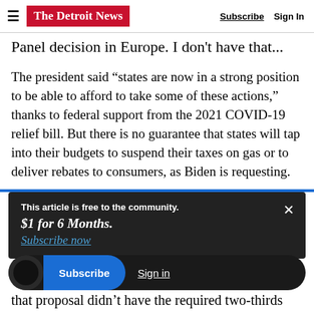The Detroit News | Subscribe | Sign In
Panel decision in Europe. I don't have that...
The president said “states are now in a strong position to be able to afford to take some of these actions,” thanks to federal support from the 2021 COVID-19 relief bill. But there is no guarantee that states will tap into their budgets to suspend their taxes on gas or to deliver rebates to consumers, as Biden is requesting.
This article is free to the community. $1 for 6 Months. Subscribe now
...publican-backed legislation that attempted to
that proposal didn’t have the required two-thirds